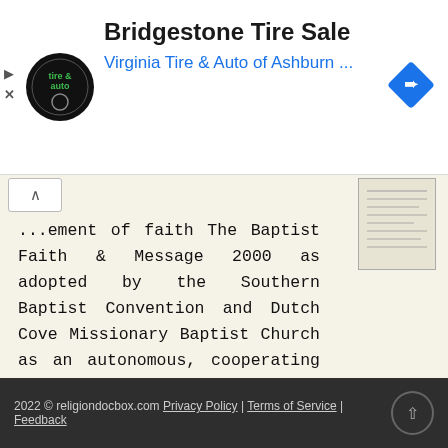[Figure (infographic): Advertisement banner for Bridgestone Tire Sale at Virginia Tire & Auto of Ashburn. Contains a circular tire-and-auto logo, bold headline, blue subtitle, and a blue diamond-shaped navigation arrow icon.]
...ement of faith The Baptist Faith & Message 2000 as adopted by the Southern Baptist Convention and Dutch Cove Missionary Baptist Church as an autonomous, cooperating body of believers. I. The Scriptures
More information →
2022 © religiondocbox.com Privacy Policy | Terms of Service | Feedback